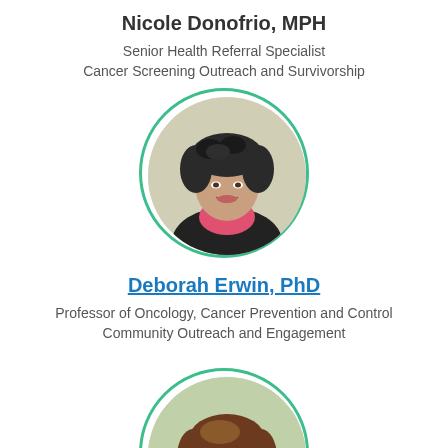Nicole Donofrio, MPH
Senior Health Referral Specialist
Cancer Screening Outreach and Survivorship
[Figure (photo): Circular portrait photo of Deborah Erwin, a woman with curly dark hair wearing a pink scarf and black jacket, framed with a green circle border]
Deborah Erwin, PhD
Professor of Oncology, Cancer Prevention and Control
Community Outreach and Engagement
[Figure (photo): Circular portrait photo of a woman with brown hair, partially visible, framed with a green circle border]